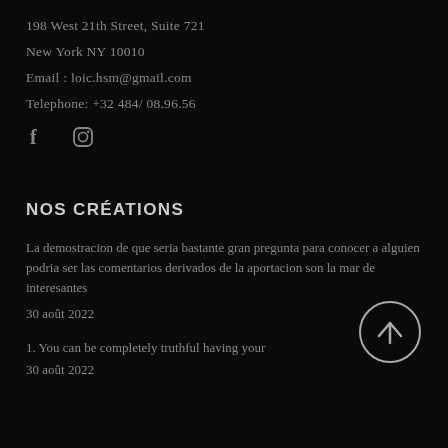198 West 21th Street, Suite 721
New York NY 10010
Email : loic.hsm@gmail.com
Telephone: +32 484/ 08.96.56
[Figure (illustration): Social media icons: Facebook (f) and Instagram (camera/circle)]
NOS CRÉATIONS
La demostracion de que seria bastante gran pregunta para conocer a alguien podria ser las comentarios derivados de la aportacion son la mar de interesantes
30 août 2022
[Figure (illustration): Circular button with upward arrow (scroll to top)]
1. You can be completely truthful having your
30 août 2022